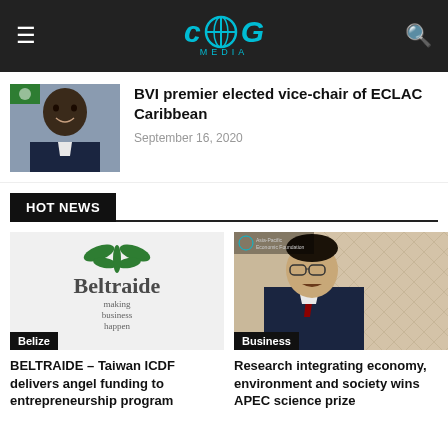CNG MEDIA
BVI premier elected vice-chair of ECLAC Caribbean
September 16, 2020
HOT NEWS
[Figure (logo): Beltraide logo with text: Beltraide making business happen]
Belize
BELTRAIDE – Taiwan ICDF delivers angel funding to entrepreneurship program
[Figure (photo): Asian man in suit speaking at event, Asia-Pacific Economic forum watermark visible]
Business
Research integrating economy, environment and society wins APEC science prize